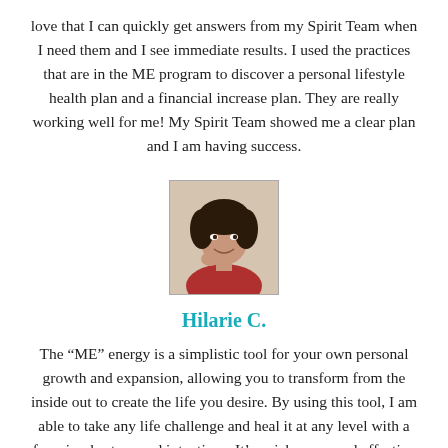love that I can quickly get answers from my Spirit Team when I need them and I see immediate results. I used the practices that are in the ME program to discover a personal lifestyle health plan and a financial increase plan. They are really working well for me! My Spirit Team showed me a clear plan and I am having success.
[Figure (photo): Headshot photo of Hilarie C., a woman with dark curly hair, wearing a red top, smiling with hand near chin]
Hilarie C.
The “ME” energy is a simplistic tool for your own personal growth and expansion, allowing you to transform from the inside out to create the life you desire. By using this tool, I am able to take any life challenge and heal it at any level with a few simple steps and intentions. It’s quick, easy, and effective